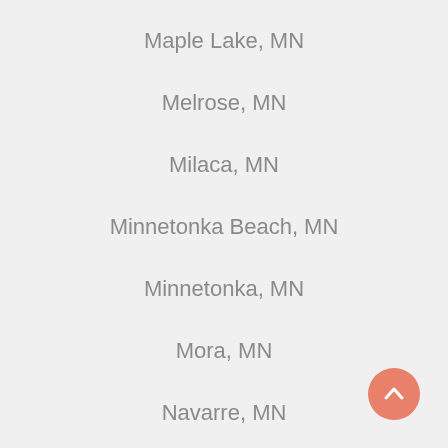Maple Lake, MN
Melrose, MN
Milaca, MN
Minnetonka Beach, MN
Minnetonka, MN
Mora, MN
Navarre, MN